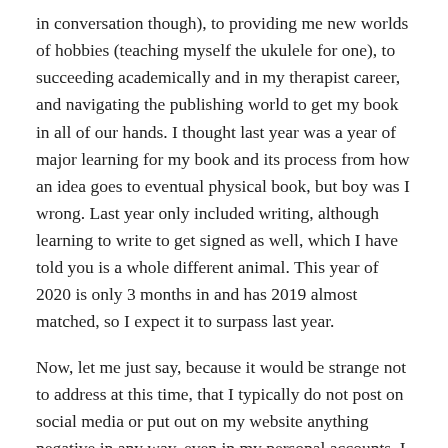in conversation though), to providing me new worlds of hobbies (teaching myself the ukulele for one), to succeeding academically and in my therapist career, and navigating the publishing world to get my book in all of our hands. I thought last year was a year of major learning for my book and its process from how an idea goes to eventual physical book, but boy was I wrong. Last year only included writing, although learning to write to get signed as well, which I have told you is a whole different animal. This year of 2020 is only 3 months in and has 2019 almost matched, so I expect it to surpass last year.
Now, let me just say, because it would be strange not to address at this time, that I typically do not post on social media or put out on my website anything negative in any way, even in my personal accounts. I am a believer that what you put out comes back, so I want to say and write what I want to happen or just about spreading joy in general, be it